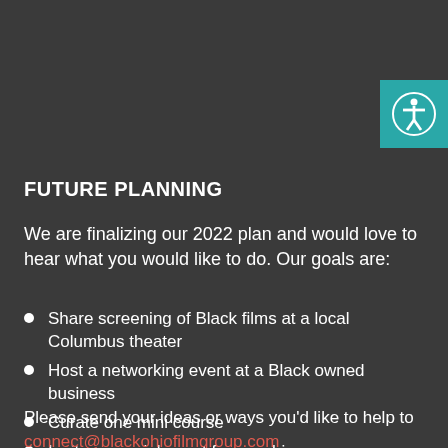[Figure (illustration): Teal/turquoise square button in top right corner with a white accessibility icon (person with outstretched arms in a circle)]
FUTURE PLANNING
We are finalizing our 2022 plan and would love to hear what you would like to do. Our goals are:
Share screening of Black films at a local Columbus theater
Host a networking event at a Black owned business
Curate one mini course
Invite a special guest for a webinar
Please send your ideas or ways you'd like to help to
connect@blackohiofilmgroup.com